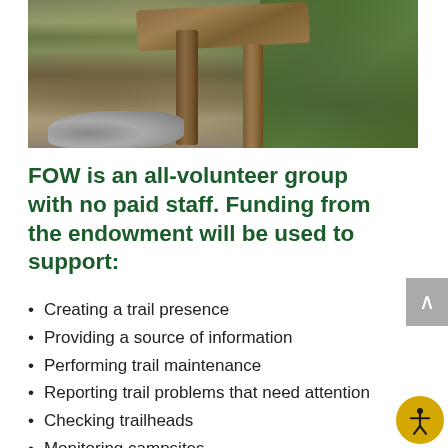[Figure (photo): Photograph of wooden trail sign posts in a forested area with rocks and green trees/foliage in the background]
FOW is an all-volunteer group with no paid staff. Funding from the endowment will be used to support:
Creating a trail presence
Providing a source of information
Performing trail maintenance
Reporting trail problems that need attention
Checking trailheads
Monitoring campsites
Identifying invasive noxious weeds